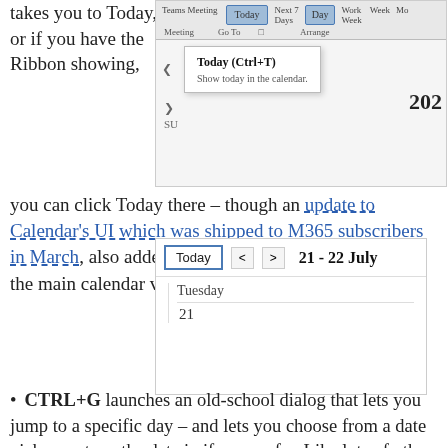takes you to Today, or if you have the Ribbon showing,
[Figure (screenshot): Outlook ribbon screenshot showing Today (Ctrl+T) tooltip with 'Show today in the calendar.' message, and SU label visible. Number 202 visible at right edge.]
you can click Today there – though an update to Calendar's UI which was shipped to M365 subscribers in March, also added a Today button at the top left of the main calendar view, as well as a few other tweaks.
[Figure (screenshot): Calendar view screenshot showing Today button, navigation arrows < and >, date range '21 - 22 July', and Tuesday 21 day column.]
CTRL+G launches an old-school dialog that lets you jump to a specific day – and lets you choose from a date picker, or type the date in if you prefer. Like lots of other old-school date